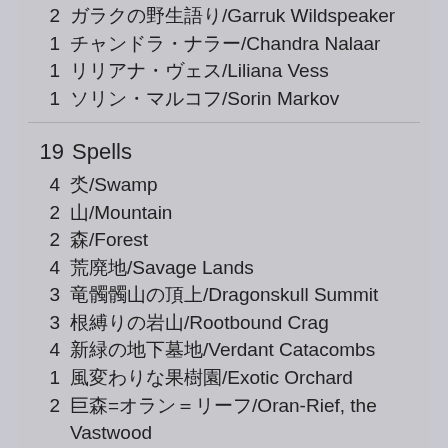2  ガラクの野生語り/Garruk Wildspeaker
1  チャンドラ・ナラー/Chandra Nalaar
1  リリアナ・ヴェス/Liliana Vess
1  ソリン・マルコフ/Sorin Markov
19  Spells
4  沼/Swamp
2  山/Mountain
2  森/Forest
4  荒廃地/Savage Lands
3  竜髑髏山の頂上/Dragonskull Summit
3  根縛りの岩山/Rootbound Crag
4  新緑の地下墓地/Verdant Catacombs
1  風変わりな果樹園/Exotic Orchard
2  巨森=オラン＝リーフ/Oran-Rief, the Vastwood
25  Land
60  Total Cards
2  噴火/Pyroclasm
2  汚染/Infest
1  終止/Terminate
4  ゴブリン廃墟潰し/Goblin Ruinblaster
2  思考の大出血/Thought Hemorrhage